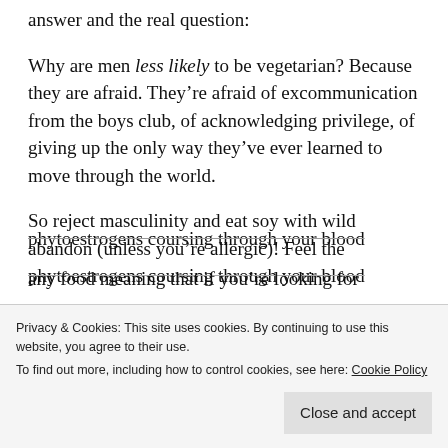answer and the real question:
Why are men less likely to be vegetarian? Because they are afraid. They’re afraid of excommunication from the boys club, of acknowledging privilege, of giving up the only way they’ve ever learned to move through the world.
So reject masculinity and eat soy with wild abandon (unless you’re allergic)! Feel the phytoestrogens coursing through your blood
any food meaning that if you’re looking for
Privacy & Cookies: This site uses cookies. By continuing to use this website, you agree to their use.
To find out more, including how to control cookies, see here: Cookie Policy